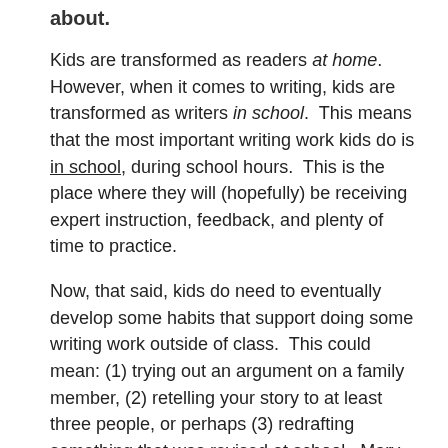about.
Kids are transformed as readers at home.  However, when it comes to writing, kids are transformed as writers in school.  This means that the most important writing work kids do is in school, during school hours.  This is the place where they will (hopefully) be receiving expert instruction, feedback, and plenty of time to practice.
Now, that said, kids do need to eventually develop some habits that support doing some writing work outside of class.  This could mean: (1) trying out an argument on a family member, (2) retelling your story to at least three people, or perhaps (3) redrafting something that was revised at school.  Mary Ehrenworth recommends not asking kids to do the big, important writing work at home– big, important writing work should happen in school.  But as part of a think tank that studies student success beyond middle